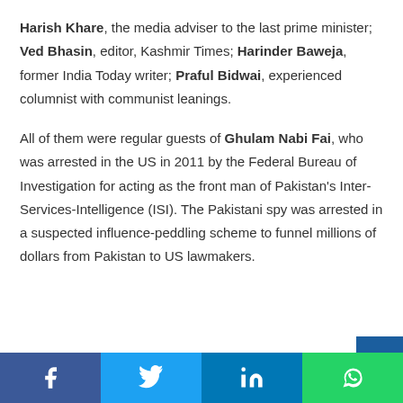Harish Khare, the media adviser to the last prime minister; Ved Bhasin, editor, Kashmir Times; Harinder Baweja, former India Today writer; Praful Bidwai, experienced columnist with communist leanings.

All of them were regular guests of Ghulam Nabi Fai, who was arrested in the US in 2011 by the Federal Bureau of Investigation for acting as the front man of Pakistan's Inter-Services-Intelligence (ISI). The Pakistani spy was arrested in a suspected influence-peddling scheme to funnel millions of dollars from Pakistan to US lawmakers.